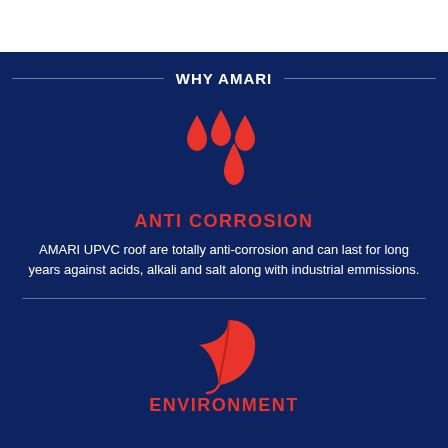WHY AMARI
[Figure (illustration): Four red water droplets icon representing anti-corrosion property]
ANTI CORROSION
AMARI UPVC roof are totally anti-corrosion and can last for long years against acids, alkali and salt along with industrial emmissions.
[Figure (illustration): Red leaf icon representing environment friendliness]
ENVIRONMENT